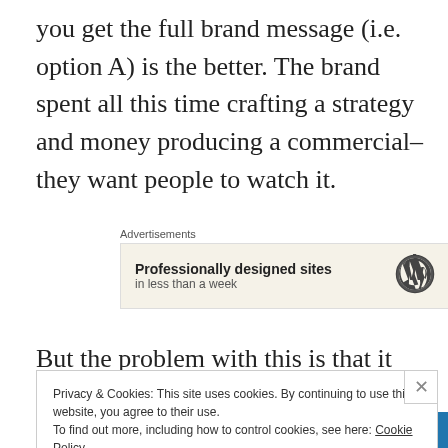you get the full brand message (i.e. option A) is the better. The brand spent all this time crafting a strategy and money producing a commercial–they want people to watch it.
[Figure (screenshot): Advertisement box with WordPress logo showing 'Professionally designed sites in less than a week']
But the problem with this is that it positions the
Privacy & Cookies: This site uses cookies. By continuing to use this website, you agree to their use. To find out more, including how to control cookies, see here: Cookie Policy
[Figure (screenshot): Follow bar at the bottom right with Follow button and ellipsis dots]